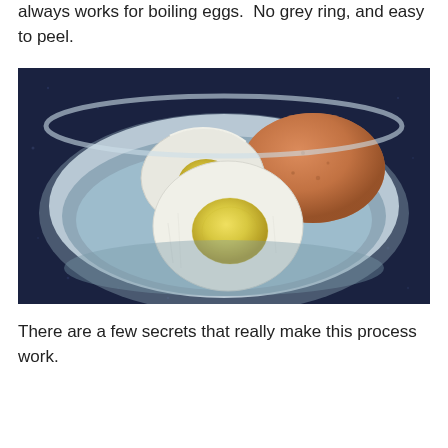always works for boiling eggs.  No grey ring, and easy to peel.
[Figure (photo): A light grey ceramic bowl containing two halves of a hard-boiled egg showing a bright yellow yolk with no grey ring, and one whole unpeeled brown egg, set on a dark blue speckled countertop.]
There are a few secrets that really make this process work.